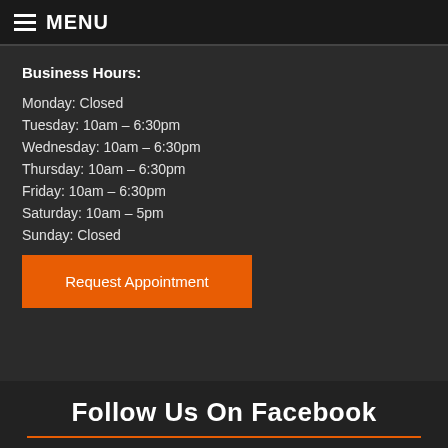MENU
Business Hours:
Monday: Closed
Tuesday: 10am – 6:30pm
Wednesday: 10am – 6:30pm
Thursday: 10am – 6:30pm
Friday: 10am – 6:30pm
Saturday: 10am – 5pm
Sunday: Closed
Request Appointment
Follow Us On Facebook